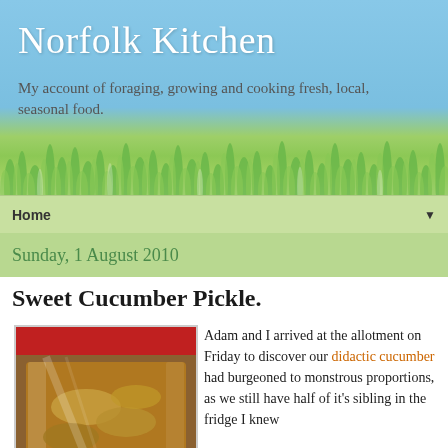Norfolk Kitchen
My account of foraging, growing and cooking fresh, local, seasonal food.
Home ▼
Sunday, 1 August 2010
Sweet Cucumber Pickle.
[Figure (photo): Close-up photo of a glass jar filled with sweet cucumber pickle, with a red lid visible at the top. The pickle appears amber/brown colored with cucumber slices visible inside.]
Adam and I arrived at the allotment on Friday to discover our didactic cucumber had burgeoned to monstrous proportions, as we still have half of it's sibling in the fridge I knew